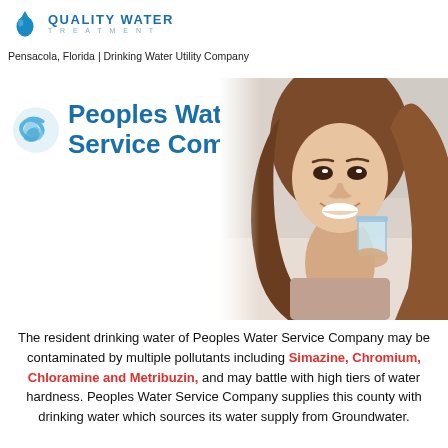[Figure (logo): Quality Water Treatment company logo with water droplet icon and blue text]
Pensacola, Florida | Drinking Water Utility Company
[Figure (logo): Peoples Water Service Company logo with swirl icon and blue bold text]
[Figure (photo): Woman smiling and drinking a glass of water]
The resident drinking water of Peoples Water Service Company may be contaminated by multiple pollutants including Simazine, Chromium, Chloramine and Metribuzin, and may battle with high tiers of water hardness. Peoples Water Service Company supplies this county with drinking water which sources its water supply from Groundwater.